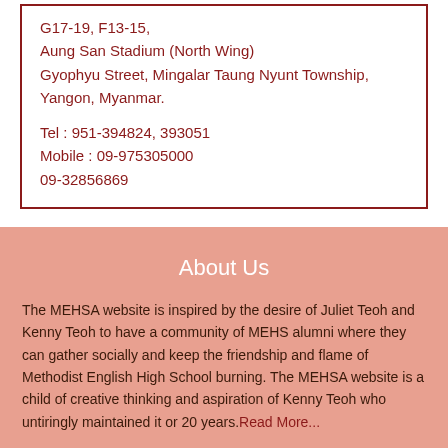G17-19, F13-15,
Aung San Stadium (North Wing)
Gyophyu Street, Mingalar Taung Nyunt Township,
Yangon, Myanmar.

Tel : 951-394824, 393051
Mobile : 09-975305000
09-32856869
About Us
The MEHSA website is inspired by the desire of Juliet Teoh and Kenny Teoh to have a community of MEHS alumni where they can gather socially and keep the friendship and flame of Methodist English High School burning. The MEHSA website is a child of creative thinking and aspiration of Kenny Teoh who untiringly maintained it or 20 years. Read More...
“Non Scholae Sed Vitae Discimus”
NOT FOR SCHOOL BUT FOR LIFE DO WE LEARN